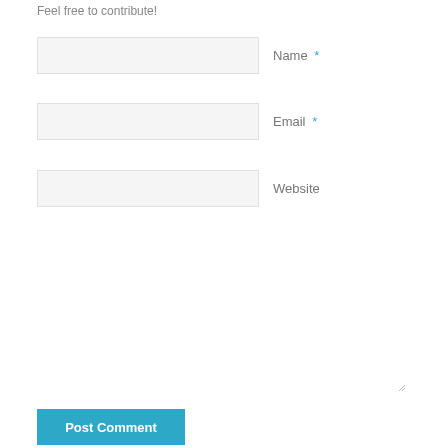Feel free to contribute!
Name *
Email *
Website
Post Comment